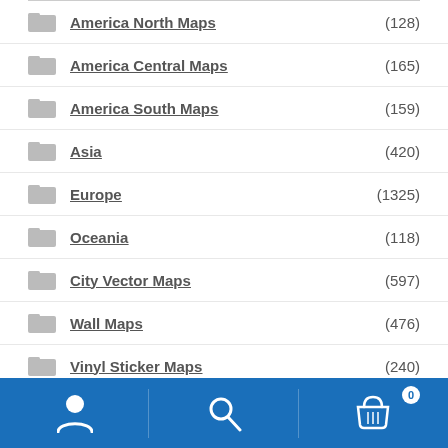America North Maps (128)
America Central Maps (165)
America South Maps (159)
Asia (420)
Europe (1325)
Oceania (118)
City Vector Maps (597)
Wall Maps (476)
Vinyl Sticker Maps (240)
Framed Maps (74)
Magnetic Maps (491)